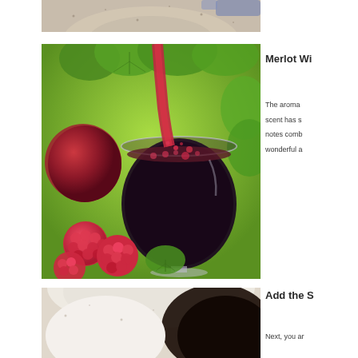[Figure (photo): Partial top photo of what appears to be a bowl or dish on a speckled surface, partially cropped at the top of the page.]
[Figure (photo): A glass of red Merlot wine being poured, surrounded by raspberries, a plum, and green vine leaves on a bright green background.]
Merlot Wi
The aroma scent has s notes comb wonderful a
[Figure (photo): Partial bottom photo showing what appears to be a bowl with dark liquid (chocolate or sauce) and white/cream colored ingredients, cropped at the bottom of the page.]
Add the S
Next, you ar